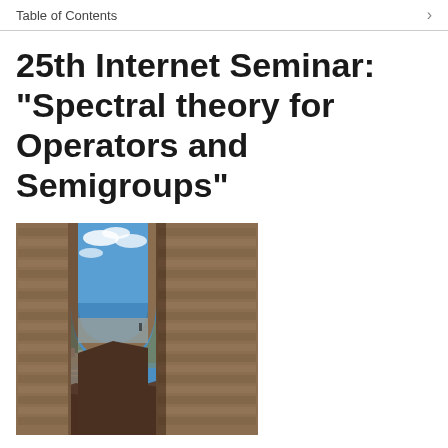Table of Contents
25th Internet Seminar: "Spectral theory for Operators and Semigroups"
[Figure (photo): A dramatic view through a tall stone arch of ancient ruins, looking out over a city, sea, and mountains under a blue sky with clouds.]